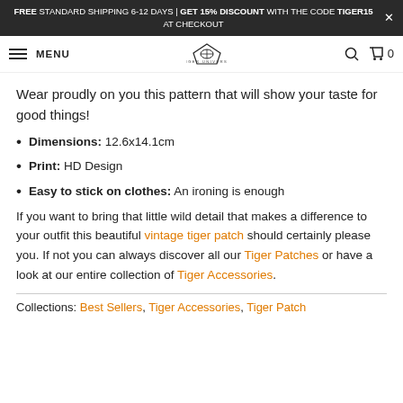FREE STANDARD SHIPPING 6-12 DAYS | GET 15% DISCOUNT WITH THE CODE TIGER15 AT CHECKOUT
MENU | TIGER UNIVERSE | search | cart 0
Wear proudly on you this pattern that will show your taste for good things!
Dimensions: 12.6x14.1cm
Print: HD Design
Easy to stick on clothes: An ironing is enough
If you want to bring that little wild detail that makes a difference to your outfit this beautiful vintage tiger patch should certainly please you. If not you can always discover all our Tiger Patches or have a look at our entire collection of Tiger Accessories.
Collections: Best Sellers, Tiger Accessories, Tiger Patch